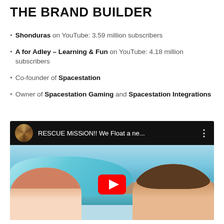THE BRAND BUILDER
Shonduras on YouTube: 3.59 million subscribers
A for Adley – Learning & Fun on YouTube: 4.18 million subscribers
Co-founder of Spacestation
Owner of Spacestation Gaming and Spacestation Integrations
[Figure (screenshot): YouTube video thumbnail showing 'RESCUE MiSSiON!! We Float a ne...' with a child and adult on a float in water, with YouTube play button overlay]